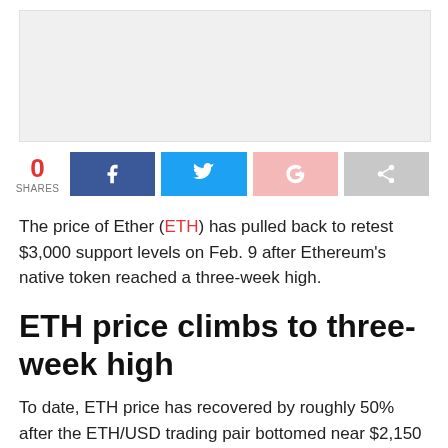[Figure (photo): Article image placeholder (light gray background)]
0 SHARES — social share buttons: Facebook, Twitter, Google+, Share
The price of Ether (ETH) has pulled back to retest $3,000 support levels on Feb. 9 after Ethereum's native token reached a three-week high.
ETH price climbs to three-week high
To date, ETH price has recovered by roughly 50% after the ETH/USD trading pair bottomed near $2,150 on Jan. 24.